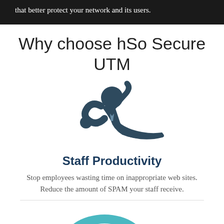that better protect your network and its users.
Why choose hSo Secure UTM
[Figure (illustration): Icon of a person wasting time or being lazy, dark blue/grey colored, representing staff productivity concept]
Staff Productivity
Stop employees wasting time on inappropriate web sites. Reduce the amount of SPAM your staff receive.
[Figure (illustration): Partial eye icon in teal/blue color at the bottom of the page, partially cut off]